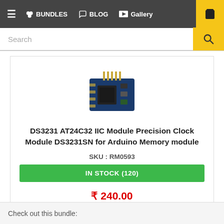☰  BUNDLES  BLOG  Gallery  🛒
Search
[Figure (photo): Blue DS3231 AT24C32 IIC precision clock module PCB with header pins]
DS3231 AT24C32 IIC Module Precision Clock Module DS3231SN for Arduino Memory module
SKU : RM0593
IN STOCK (120)
₹ 240.00
BUY NOW
Check out this bundle: